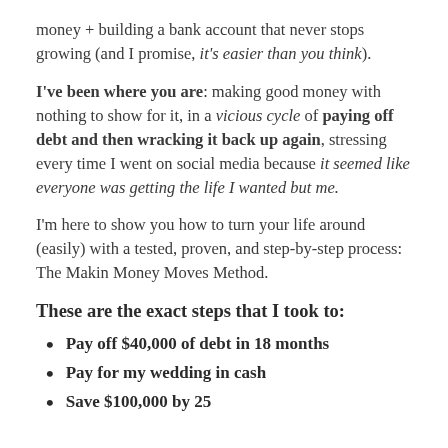money + building a bank account that never stops growing (and I promise, it's easier than you think).
I've been where you are: making good money with nothing to show for it, in a vicious cycle of paying off debt and then wracking it back up again, stressing every time I went on social media because it seemed like everyone was getting the life I wanted but me.
I'm here to show you how to turn your life around (easily) with a tested, proven, and step-by-step process: The Makin Money Moves Method.
These are the exact steps that I took to:
Pay off $40,000 of debt in 18 months
Pay for my wedding in cash
Save $100,000 by 25